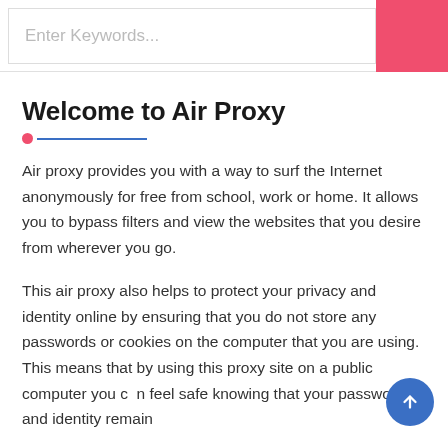Enter Keywords...
Welcome to Air Proxy
Air proxy provides you with a way to surf the Internet anonymously for free from school, work or home. It allows you to bypass filters and view the websites that you desire from wherever you go.
This air proxy also helps to protect your privacy and identity online by ensuring that you do not store any passwords or cookies on the computer that you are using. This means that by using this proxy site on a public computer you can feel safe knowing that your passwords and identity remain